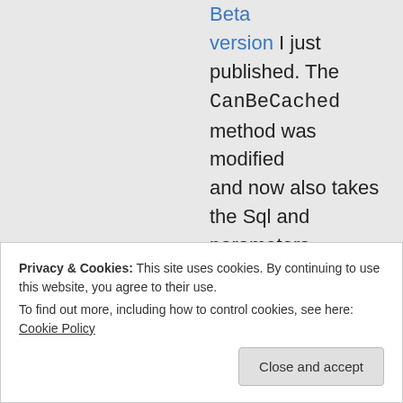Take a look at Beta version I just published. The CanBeCached method was modified and now also takes the Sql and parameters.

Hope this helps,
Pawel
Privacy & Cookies: This site uses cookies. By continuing to use this website, you agree to their use.
To find out more, including how to control cookies, see here: Cookie Policy